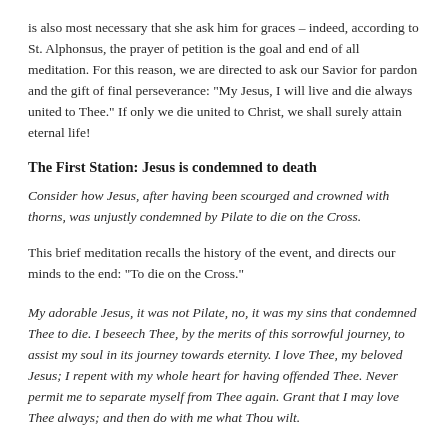is also most necessary that she ask him for graces – indeed, according to St. Alphonsus, the prayer of petition is the goal and end of all meditation. For this reason, we are directed to ask our Savior for pardon and the gift of final perseverance: “My Jesus, I will live and die always united to Thee.” If only we die united to Christ, we shall surely attain eternal life!
The First Station: Jesus is condemned to death
Consider how Jesus, after having been scourged and crowned with thorns, was unjustly condemned by Pilate to die on the Cross.
This brief meditation recalls the history of the event, and directs our minds to the end: “To die on the Cross.”
My adorable Jesus, it was not Pilate, no, it was my sins that condemned Thee to die. I beseech Thee, by the merits of this sorrowful journey, to assist my soul in its journey towards eternity. I love Thee, my beloved Jesus; I repent with my whole heart for having offended Thee. Never permit me to separate myself from Thee again. Grant that I may love Thee always; and then do with me what Thou wilt.